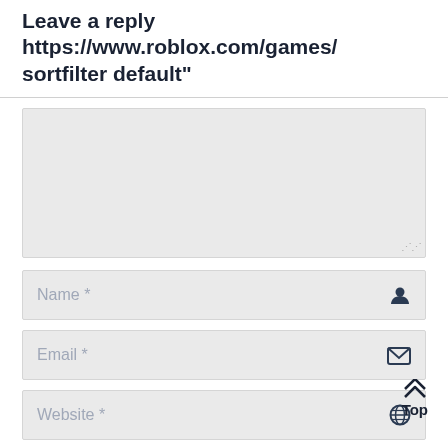Leave a reply  https://www.roblox.com/games/sortfilter default"
[Figure (screenshot): Comment textarea input field, empty, with light gray background and resize handle at bottom right]
[Figure (screenshot): Name * input field with user icon on the right]
[Figure (screenshot): Email * input field with envelope/mail icon on the right]
[Figure (screenshot): Website * input field with globe icon on the right]
Save my name, email, and website in this browser for
[Figure (screenshot): Top button with double chevron up arrow in bottom right corner]